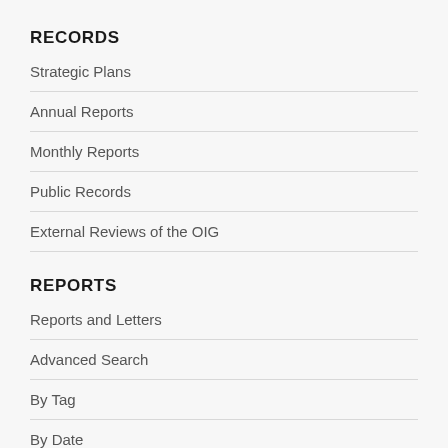RECORDS
Strategic Plans
Annual Reports
Monthly Reports
Public Records
External Reviews of the OIG
REPORTS
Reports and Letters
Advanced Search
By Tag
By Date